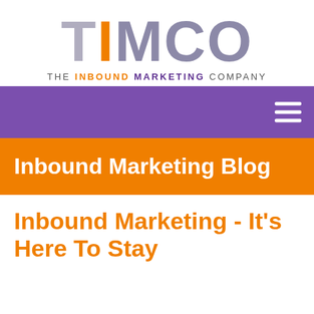[Figure (logo): TIMCO logo — The Inbound Marketing Company. Large stylized text with T and M in grey, I in orange, CO in grey. Tagline below: THE INBOUND MARKETING COMPANY with INBOUND in orange and MARKETING in purple.]
navigation bar with hamburger menu icon
Inbound Marketing Blog
Inbound Marketing - It's Here To Stay